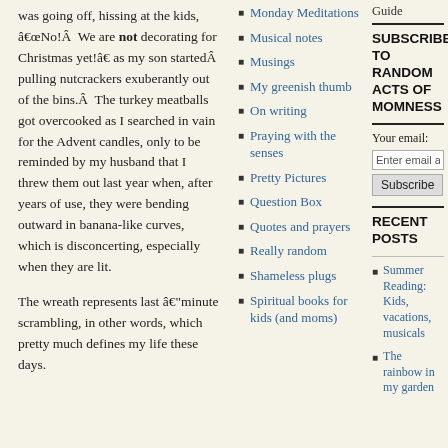was going off, hissing at the kids, “No!Â  We are not decorating for Christmas yet!” as my son startedÂ  pulling nutcrackers exuberantly out of the bins.Â  The turkey meatballs got overcooked as I searched in vain for the Advent candles, only to be reminded by my husband that I threw them out last year when, after years of use, they were bending outward in banana-like curves, which is disconcerting, especially when they are lit.
The wreath represents last “minute scrambling, in other words, which pretty much defines my life these days.
Monday Meditations
Musical notes
Musings
My greenish thumb
On writing
Praying with the senses
Pretty Pictures
Question Box
Quotes and prayers
Really random
Shameless plugs
Spiritual books for kids (and moms)
Guide
SUBSCRIBE TO RANDOM ACTS OF MOMNESS
Your email:
RECENT POSTS
Summer Reading: Kids, vacations, musicals
The rainbow in my garden